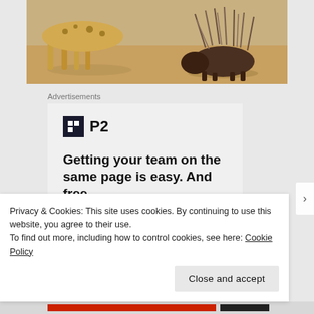[Figure (photo): Photo of a cheetah or cat-like animal facing a porcupine on sandy ground]
Advertisements
[Figure (screenshot): P2 advertisement: logo icon with P2 text, headline 'Getting your team on the same page is easy. And free.' with avatar circles below]
Privacy & Cookies: This site uses cookies. By continuing to use this website, you agree to their use.
To find out more, including how to control cookies, see here: Cookie Policy
Close and accept